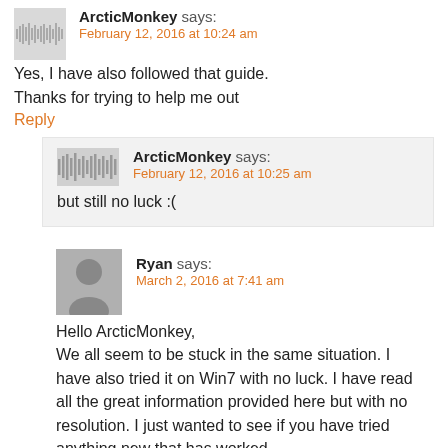ArcticMonkey says: February 12, 2016 at 10:24 am
Yes, I have also followed that guide. Thanks for trying to help me out
Reply
ArcticMonkey says: February 12, 2016 at 10:25 am
but still no luck :(
Ryan says: March 2, 2016 at 7:41 am
Hello ArcticMonkey, We all seem to be stuck in the same situation. I have also tried it on Win7 with no luck. I have read all the great information provided here but with no resolution. I just wanted to see if you have tried anything new that has worked.